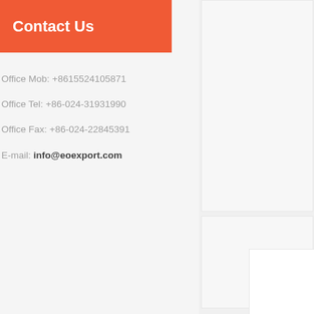Contact Us
Office Mob: +8615524105871
Office Tel: +86-024-31931990
Office Fax: +86-024-22845391
E-mail: info@eoexport.com